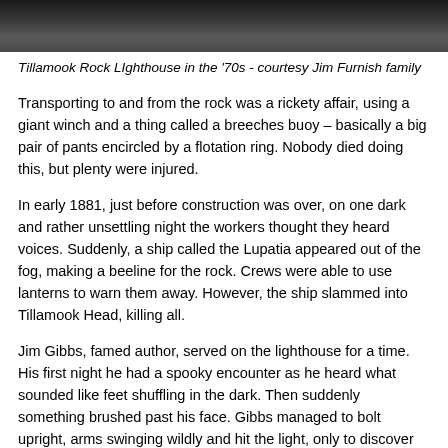[Figure (photo): Partial view of Tillamook Rock Lighthouse in the 1970s, dark rocky structure against a grey sky]
Tillamook Rock LIghthouse in the '70s - courtesy Jim Furnish family
Transporting to and from the rock was a rickety affair, using a giant winch and a thing called a breeches buoy – basically a big pair of pants encircled by a flotation ring. Nobody died doing this, but plenty were injured.
In early 1881, just before construction was over, on one dark and rather unsettling night the workers thought they heard voices. Suddenly, a ship called the Lupatia appeared out of the fog, making a beeline for the rock. Crews were able to use lanterns to warn them away. However, the ship slammed into Tillamook Head, killing all.
Jim Gibbs, famed author, served on the lighthouse for a time. His first night he had a spooky encounter as he heard what sounded like feet shuffling in the dark. Then suddenly something brushed past his face. Gibbs managed to bolt upright, arms swinging wildly and hit the light, only to discover the intruder was a bird with an injured wing that had come in through the open